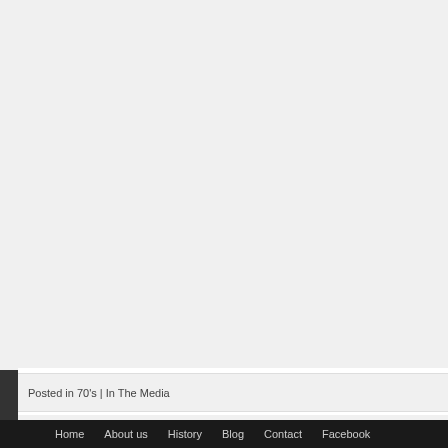[Figure (other): Large gray/light background content area (screenshot of a webpage, mostly empty/blank content area)]
Posted in 70's | In The Media
Magu
Home  About us  History  Blog  Contact  Facebook